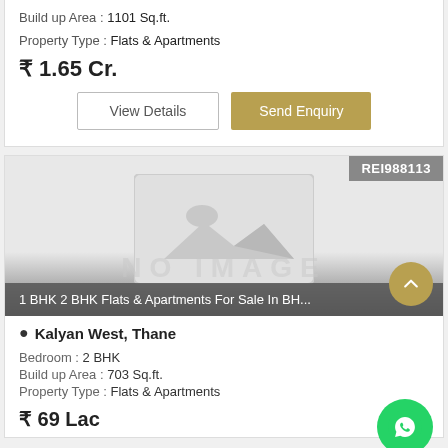Build up Area : 1101 Sq.ft.
Property Type : Flats & Apartments
₹ 1.65 Cr.
View Details
Send Enquiry
[Figure (photo): Property listing card with no image placeholder showing 'NO IMAGE' and label REI988113]
1 BHK 2 BHK Flats & Apartments For Sale In BH...
Kalyan West, Thane
Bedroom : 2 BHK
Build up Area : 703 Sq.ft.
Property Type : Flats & Apartments
₹ 69 Lac